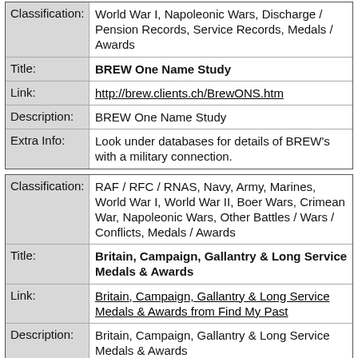| Field | Value |
| --- | --- |
| Classification: | World War I, Napoleonic Wars, Discharge / Pension Records, Service Records, Medals / Awards |
| Title: | BREW One Name Study |
| Link: | http://brew.clients.ch/BrewONS.htm |
| Description: | BREW One Name Study |
| Extra Info: | Look under databases for details of BREW's with a military connection. |
| Field | Value |
| --- | --- |
| Classification: | RAF / RFC / RNAS, Navy, Army, Marines, World War I, World War II, Boer Wars, Crimean War, Napoleonic Wars, Other Battles / Wars / Conflicts, Medals / Awards |
| Title: | Britain, Campaign, Gallantry & Long Service Medals & Awards |
| Link: | Britain, Campaign, Gallantry & Long Service Medals & Awards from Find My Past |
| Description: | Britain, Campaign, Gallantry & Long Service Medals & Awards |
| Field | Value |
| --- | --- |
| Classification: | RAF / RFC / RNAS, Navy, Army, Information |
| Title: | British Nationals Armed Forces Banns and Marriages |